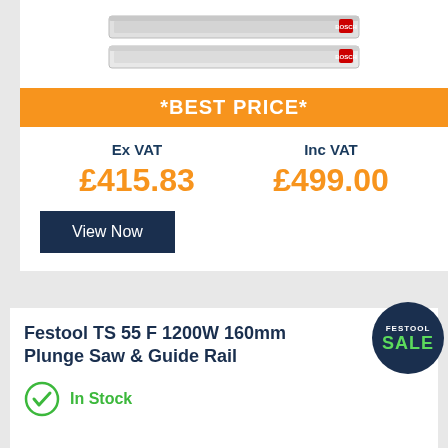[Figure (photo): Bosch guide rail product image, two silver rails stacked]
*BEST PRICE*
Ex VAT
£415.83
Inc VAT
£499.00
View Now
[Figure (logo): Festool Sale badge, dark circle with FESTOOL SALE text]
Festool TS 55 F 1200W 160mm Plunge Saw & Guide Rail
In Stock
[Figure (photo): Festool plunge saw partial image at bottom of page]